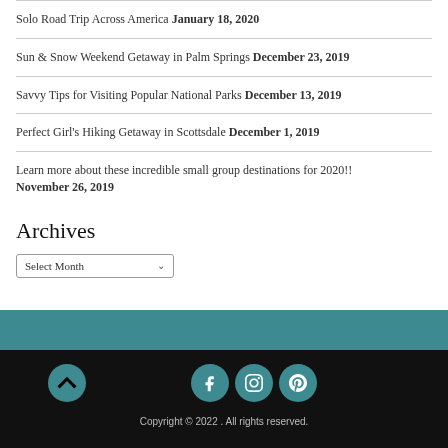Solo Road Trip Across America January 18, 2020
Sun & Snow Weekend Getaway in Palm Springs December 23, 2019
Savvy Tips for Visiting Popular National Parks December 13, 2019
Perfect Girl's Hiking Getaway in Scottsdale December 1, 2019
Learn more about these incredible small group destinations for 2020!! November 26, 2019
Archives
Select Month
Copyright © 2022 . All rights reserved.